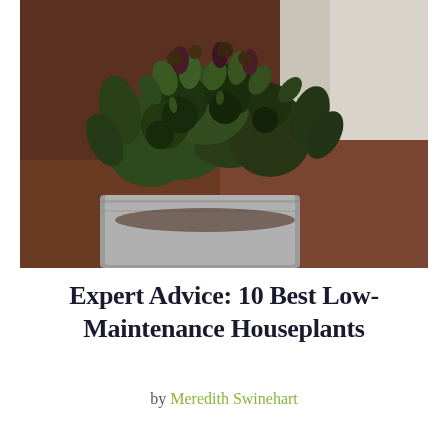[Figure (photo): Close-up photo of a succulent plant with dark green and purple rosette-shaped leaves in a gray/white ceramic pot, with a blurred brown wooden surface and light-colored wall/window in the background.]
Expert Advice: 10 Best Low-Maintenance Houseplants
by Meredith Swinehart